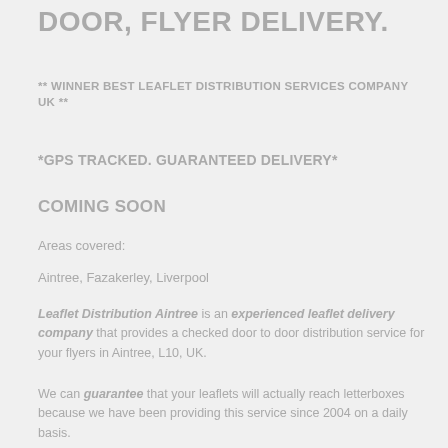DOOR, FLYER DELIVERY.
** WINNER BEST LEAFLET DISTRIBUTION SERVICES COMPANY UK **
*GPS TRACKED. GUARANTEED DELIVERY*
COMING SOON
Areas covered:
Aintree, Fazakerley, Liverpool
Leaflet Distribution Aintree is an experienced leaflet delivery company that provides a checked door to door distribution service for your flyers in Aintree, L10, UK.
We can guarantee that your leaflets will actually reach letterboxes because we have been providing this service since 2004 on a daily basis.